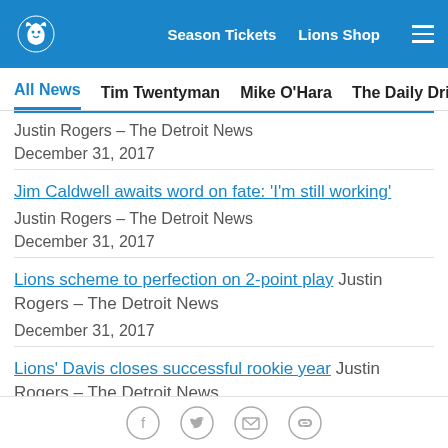Detroit Lions — Season Tickets | Lions Shop
All News | Tim Twentyman | Mike O'Hara | The Daily Drive | Press
Justin Rogers – The Detroit News
December 31, 2017
Jim Caldwell awaits word on fate: 'I'm still working' — Justin Rogers – The Detroit News — December 31, 2017
Lions scheme to perfection on 2-point play — Justin Rogers – The Detroit News — December 31, 2017
Lions' Davis closes successful rookie year — Justin Rogers – The Detroit News — December 31, 2017